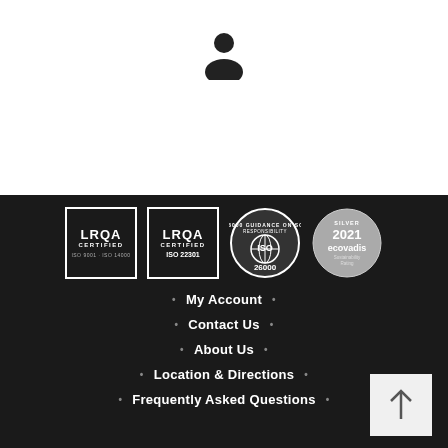[Figure (illustration): Person/user icon silhouette in black on white background]
[Figure (illustration): Four certification badges: LRQA Certified ISO 9001/ISO 14000, LRQA Certified ISO 22301, ISO 26000 Guidance on Social Responsibility, EcoVadis 2021 Silver Sustainability Rating]
My Account
Contact Us
About Us
Location & Directions
Frequently Asked Questions